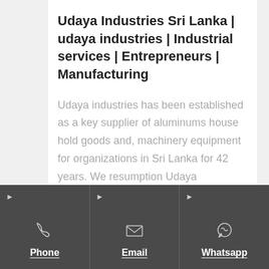Udaya Industries Sri Lanka | udaya industries | Industrial services | Entrepreneurs | Manufacturing
Udaya industries has been established as a key supplier of aluminums house hold goods and, machinery equipment for organizations in Sri Lanka for 42 years. We resumption Udaya
Phone | Email | Whatsapp